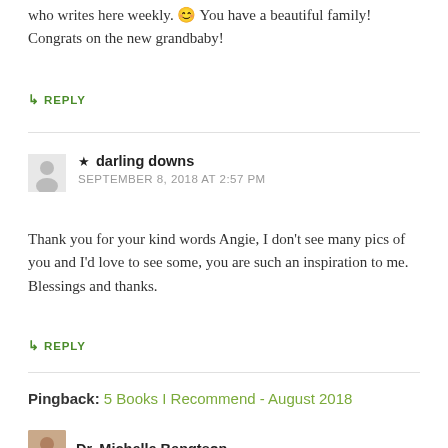who writes here weekly. 😊 You have a beautiful family! Congrats on the new grandbaby!
↳ REPLY
★ darling downs
SEPTEMBER 8, 2018 AT 2:57 PM
Thank you for your kind words Angie, I don't see many pics of you and I'd love to see some, you are such an inspiration to me. Blessings and thanks.
↳ REPLY
Pingback: 5 Books I Recommend - August 2018
Dr. Michelle Bengtson